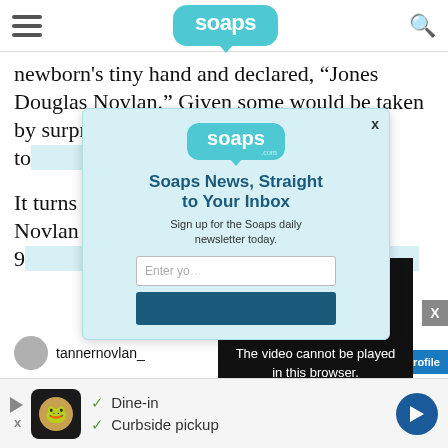soaps
newborn's tiny hand and declared, “Jones Douglas Novlan.” Given some would be taken by surprise … une, he went on to … ldn’t wait to join us!”
It turns out … last week. Novlan deta… early, 3lbs 9… was quick t… Mom is doi…
[Figure (screenshot): Modal popup overlay: Soaps.com newsletter signup with heading 'Soaps News, Straight to Your Inbox', subtext 'Sign up for the Soaps daily newsletter today.', email input field 'Enter yo...', and a dark blue subscribe button.]
[Figure (screenshot): Video player error overlay showing white arrow/play icon and text 'The video cannot be played in this browser. (Error Code: 242632)' on black background.]
tannernovlan_
[Figure (screenshot): View profile button (blue).]
✓ Dine-in  ✓ Curbside pickup